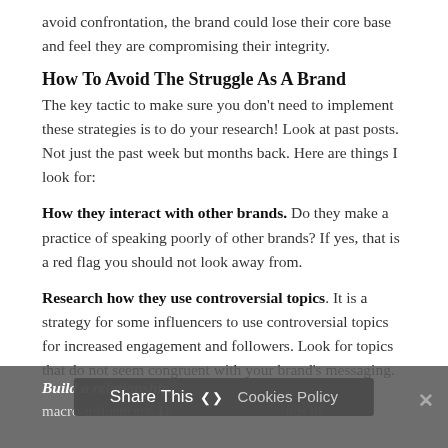avoid confrontation, the brand could lose their core base and feel they are compromising their integrity.
How To Avoid The Struggle As A Brand
The key tactic to make sure you don't need to implement these strategies is to do your research! Look at past posts. Not just the past week but months back. Here are things I look for:
How they interact with other brands. Do they make a practice of speaking poorly of other brands? If yes, that is a red flag you should not look away from.
Research how they use controversial topics. It is a strategy for some influencers to use controversial topics for increased engagement and followers. Look for topics that do not seem congruent with your brand's messaging.
Build a relationship. macro-influencers. D ands of